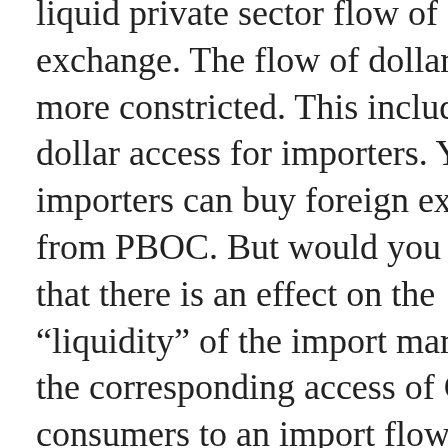liquid private sector flow of foreign exchange. The flow of dollars is more constricted. This includes dollar access for importers. Yes, importers can buy foreign exchange from PBOC. But would you deny that there is an effect on the “liquidity” of the import market, and the corresponding access of Chinese consumers to an import flow backed by a more diverse source of finance? So why wouldn’t such a constriction of import commerce and financing have a direct bearing on Chinese thrift in the sense of import supply constriction? And if so,